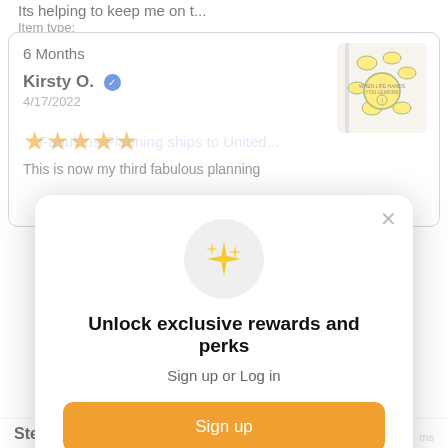Its helping to keep me on t...
Item type:
6 Months
Kirsty O. ✓
4/17/2022
★★★★★
This is now my third fabulous planning
Fabulous Planning ships to United...
[Figure (infographic): US flag emoji]
[Figure (photo): Lemon-themed spiral notebook product photo]
[Figure (infographic): Golden sparkle/stars icon in a light gray circle]
Unlock exclusive rewards and perks
Sign up or Log in
Sign up
Already have an account? Sign in
Stephanie D. ✓